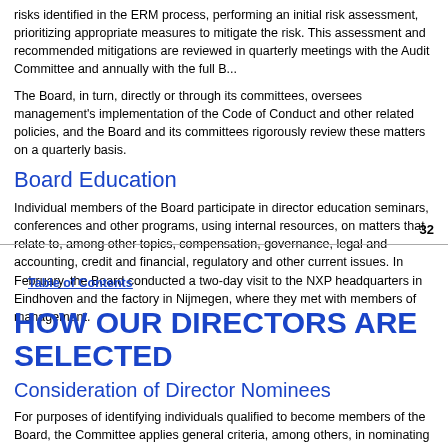risks identified in the ERM process, performing an initial risk assessment, prioritizing appropriate measures to mitigate the risk. This assessment and recommended mitigations are reviewed in quarterly meetings with the Audit Committee and annually with the full B...
The Board, in turn, directly or through its committees, oversees management's implementation of the Code of Conduct and other related policies, and the Board and its committees rigorously review these matters on a quarterly basis.
Board Education
Individual members of the Board participate in director education seminars, conferences and other programs, using internal resources, on matters that relate to, among other topics, compensation, governance, legal and accounting, credit and financial, regulatory and other current issues. In February, the Board conducted a two-day visit to the NXP headquarters in Eindhoven and the factory in Nijmegen, where they met with members of management.
32
Table of Contents
HOW OUR DIRECTORS ARE SELECTED
Consideration of Director Nominees
For purposes of identifying individuals qualified to become members of the Board, the Committee applies general criteria, among others, in nominating director candidates. These criteria reflect factors for determining candidates for election: